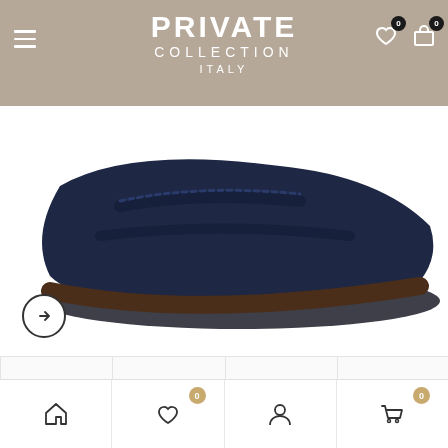PRIVATE COLLECTION ITALY
[Figure (photo): Main product image: dark navy leather slide sandal shown from the side, cropped at the bottom with a navigation arrow circle button]
[Figure (photo): Thumbnail strip showing 4 views of the Quadratura Marmo sandal: side view dark, front-angle view dark brown, top/sole view dark brown, side view navy blue]
Quadratura Marmo
3550 ↑
Home | Wishlist (0) | Account | Cart (0)